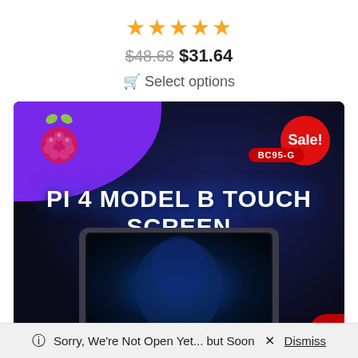★★★★★
$48.68 $31.64
🛒 Select options
[Figure (photo): Product listing image for Pi 4 Model B Touch Screen with Raspberry Pi logo on purple background, Sale! badge, BC95-G model number badge, and a touch screen device shown with alien/sci-fi wallpaper.]
ⓘ Sorry, We're Not Open Yet... but Soon × Dismiss